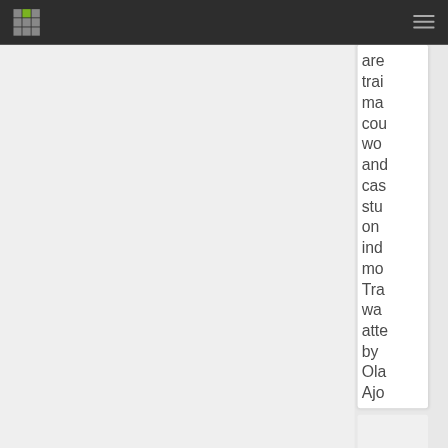[Figure (logo): Green and grey pixel/grid logo icon in top left of dark navigation bar]
[Figure (other): Hamburger menu icon (three horizontal lines) in top right of dark navigation bar]
are trai ma cou wo and cas stu on ind mo Tra wa atte by Ola Ajo